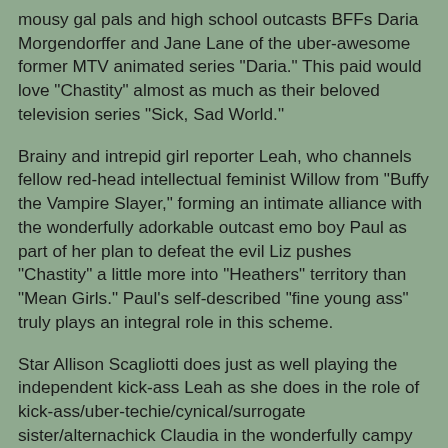mousy gal pals and high school outcasts BFFs Daria Morgendorffer and Jane Lane of the uber-awesome former MTV animated series "Daria." This paid would love "Chastity" almost as much as their beloved television series "Sick, Sad World."
Brainy and intrepid girl reporter Leah, who channels fellow red-head intellectual feminist Willow from "Buffy the Vampire Slayer," forming an intimate alliance with the wonderfully adorkable outcast emo boy Paul as part of her plan to defeat the evil Liz pushes "Chastity" a little more into "Heathers" territory than "Mean Girls." Paul's self-described "fine young ass" truly plays an integral role in this scheme.
Star Allison Scagliotti does just as well playing the independent kick-ass Leah as she does in the role of kick-ass/uber-techie/cynical/surrogate sister/alternachick Claudia in the wonderfully campy Syfy original series "Warehouse 13." One difference is that the latter truly shows Scagliotti's love for her Artie.
The following clip, courtesy of YouTube and Grand, does a